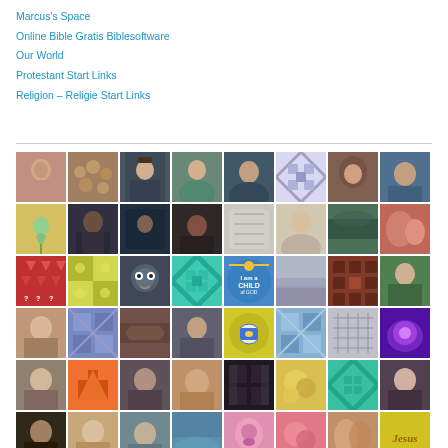Marcus's Space
Online Bible Gratis Biblesoftware
Our World
Protestant Start Links
Religion – Religie Start Links
[Figure (photo): A 6x8 grid mosaic of profile photos, avatars, and decorative tiles including people's portraits, nature scenes, patterns, and icons including one tile with 'I am a CHILD of GOD' and one with 'Jesus' text.]